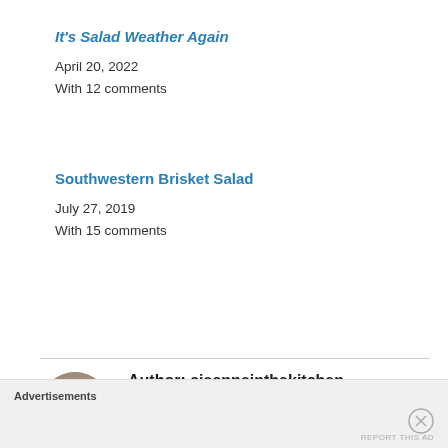It's Salad Weather Again
April 20, 2022
With 12 comments
Southwestern Brisket Salad
July 27, 2019
With 15 comments
Author: ajeanneinthekitchen
I have worked in the restaurant and catering industry for over 35 years. I attended 2 culinary schools in Southern California, and have a degree in culinary arts from the Southern
Advertisements